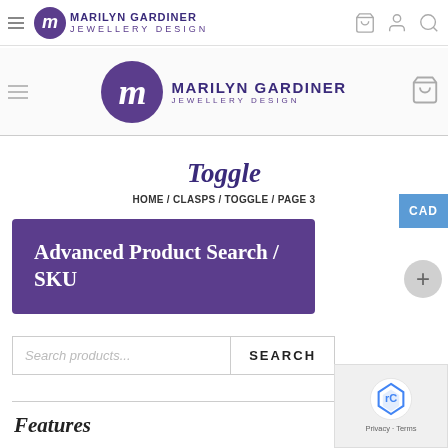Marilyn Gardiner Jewellery Design - top navigation header
Marilyn Gardiner Jewellery Design - secondary header with logo
Toggle
HOME / CLASPS / TOGGLE / PAGE 3
[Figure (screenshot): Purple banner with white bold text: Advanced Product Search / SKU]
Search products...
SEARCH